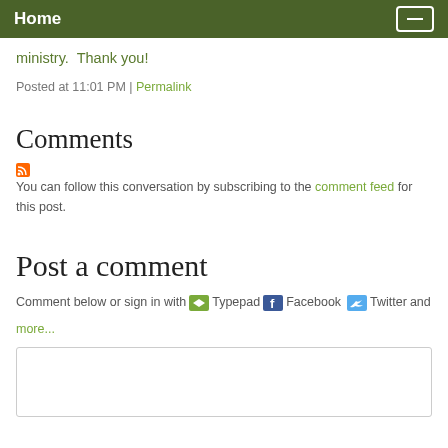Home
ministry.  Thank you!
Posted at 11:01 PM | Permalink
Comments
You can follow this conversation by subscribing to the comment feed for this post.
Post a comment
Comment below or sign in with Typepad Facebook Twitter and more...